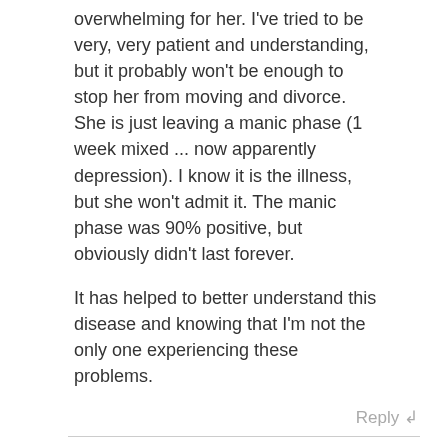overwhelming for her. I've tried to be very, very patient and understanding, but it probably won't be enough to stop her from moving and divorce. She is just leaving a manic phase (1 week mixed ... now apparently depression). I know it is the illness, but she won't admit it. The manic phase was 90% positive, but obviously didn't last forever.

It has helped to better understand this disease and knowing that I'm not the only one experiencing these problems.
Reply ↲
Rampage - 09/24/2013 at 00:49
I don't think people should be loading up on tons of pills, however substituting this studied area for complete unsupported BS, like the spiritual nonsense found bellow is beyond idiotic in contrast.
Reply ↲